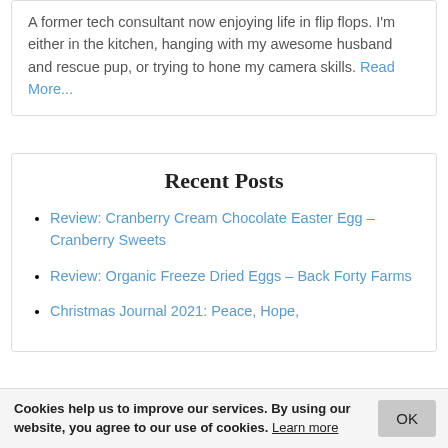A former tech consultant now enjoying life in flip flops. I'm either in the kitchen, hanging with my awesome husband and rescue pup, or trying to hone my camera skills. Read More...
Recent Posts
Review: Cranberry Cream Chocolate Easter Egg – Cranberry Sweets
Review: Organic Freeze Dried Eggs – Back Forty Farms
Christmas Journal 2021: Peace, Hope,
Cookies help us to improve our services. By using our website, you agree to our use of cookies. Learn more